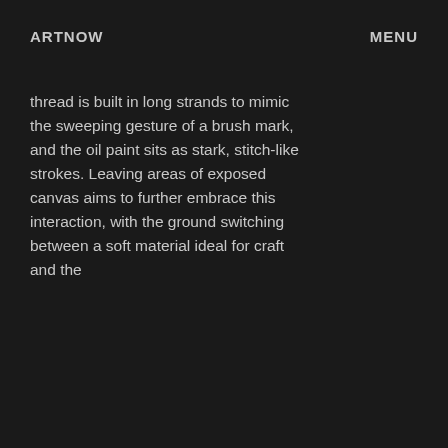ARTNOW    MENU
thread is built in long strands to mimic the sweeping gesture of a brush mark, and the oil paint sits as stark, stitch-like strokes. Leaving areas of exposed canvas aims to further embrace this interaction, with the ground switching between a soft material ideal for craft and the